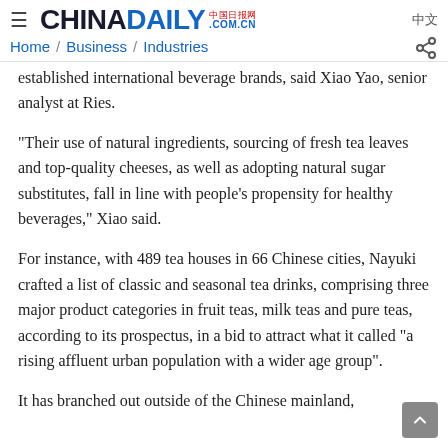CHINADAILY 中国日报网 COM.CN 中文 | Home / Business / Industries
established international beverage brands, said Xiao Yao, senior analyst at Ries.
"Their use of natural ingredients, sourcing of fresh tea leaves and top-quality cheeses, as well as adopting natural sugar substitutes, fall in line with people's propensity for healthy beverages," Xiao said.
For instance, with 489 tea houses in 66 Chinese cities, Nayuki crafted a list of classic and seasonal tea drinks, comprising three major product categories in fruit teas, milk teas and pure teas, according to its prospectus, in a bid to attract what it called "a rising affluent urban population with a wider age group".
It has branched out outside of the Chinese mainland,